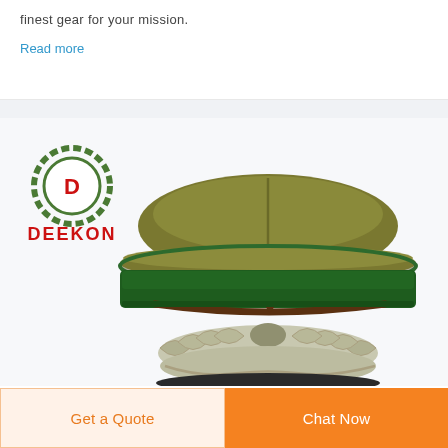finest gear for your mission.
Read more
[Figure (photo): Military officer dress cap (olive/khaki color with dark green band and brown chinstrap, displayed on a decorative silver laurel wreath stand) with DEEKON logo in upper left corner.]
Get a Quote
Chat Now